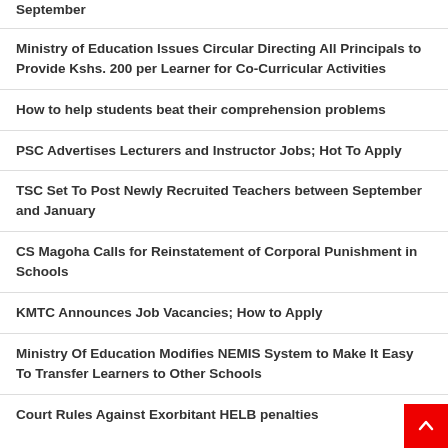September
Ministry of Education Issues Circular Directing All Principals to Provide Kshs. 200 per Learner for Co-Curricular Activities
How to help students beat their comprehension problems
PSC Advertises Lecturers and Instructor Jobs; Hot To Apply
TSC Set To Post Newly Recruited Teachers between September and January
CS Magoha Calls for Reinstatement of Corporal Punishment in Schools
KMTC Announces Job Vacancies; How to Apply
Ministry Of Education Modifies NEMIS System to Make It Easy To Transfer Learners to Other Schools
Court Rules Against Exorbitant HELB penalties